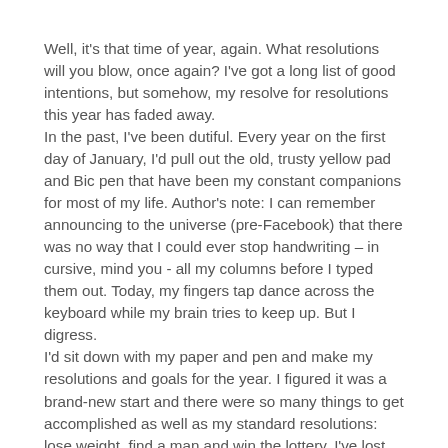Well, it's that time of year, again. What resolutions will you blow, once again? I've got a long list of good intentions, but somehow, my resolve for resolutions this year has faded away. In the past, I've been dutiful. Every year on the first day of January, I'd pull out the old, trusty yellow pad and Bic pen that have been my constant companions for most of my life. Author's note: I can remember announcing to the universe (pre-Facebook) that there was no way that I could ever stop handwriting – in cursive, mind you - all my columns before I typed them out. Today, my fingers tap dance across the keyboard while my brain tries to keep up. But I digress. I'd sit down with my paper and pen and make my resolutions and goals for the year. I figured it was a brand-new start and there were so many things to get accomplished as well as my standard resolutions: lose weight, find a man and win the lottery. I've lost and gained the same 20 pounds for years; I've found my man; I can still hope on the lottery. Though, I'd probably need to play it now and again.